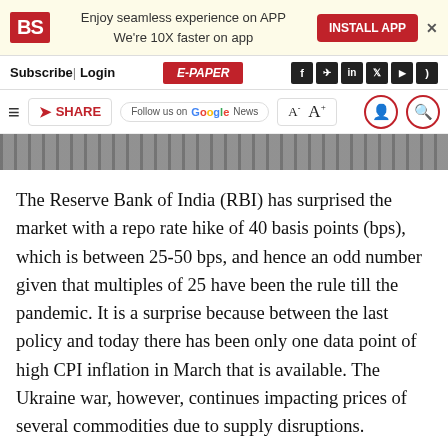BS | Enjoy seamless experience on APP We're 10X faster on app | INSTALL APP
Subscribe | Login | E-PAPER
≡ SHARE | Follow us on Google News | A- A+ | [user icon] [search icon]
[Figure (photo): Partial image of a person in a striped shirt, cropped at bottom]
The Reserve Bank of India (RBI) has surprised the market with a repo rate hike of 40 basis points (bps), which is between 25-50 bps, and hence an odd number given that multiples of 25 have been the rule till the pandemic. It is a surprise because between the last policy and today there has been only one data point of high CPI inflation in March that is available. The Ukraine war, however, continues impacting prices of several commodities due to supply disruptions.